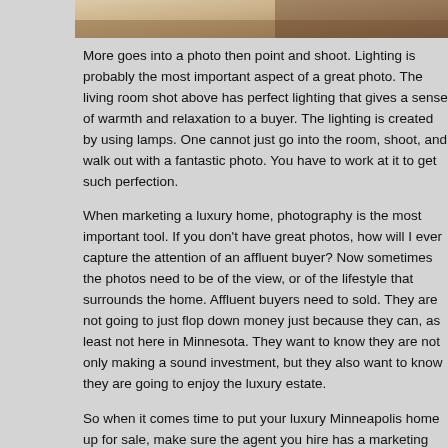[Figure (photo): Partial view of a living room photo at the top of the page]
More goes into a photo then point and shoot. Lighting is probably the most important aspect of a great photo. The living room shot above has perfect lighting that gives a sense of warmth and relaxation to a buyer. The lighting is created by using lamps. One cannot just go into the room, shoot, and walk out with a fantastic photo. You have to work at it to get such perfection.
When marketing a luxury home, photography is the most important tool. If you don't have great photos, how will I ever capture the attention of an affluent buyer? Now sometimes the photos need to be of the view, or of the lifestyle that surrounds the home. Affluent buyers need to sold. They are not going to just flop down money just because they can, as least not here in Minnesota. They want to know they are not only making a sound investment, but they also want to know they are going to enjoy the luxury estate.
So when it comes time to put your luxury Minneapolis home up for sale, make sure the agent you hire has a marketing plan that includes professional photography. It can make the difference in capturing the buyer's attention. If you don't, chances are you will be languishing a long time on the real estate market, and the word "price reduction" will be uttered in your agent's next conversation with you.